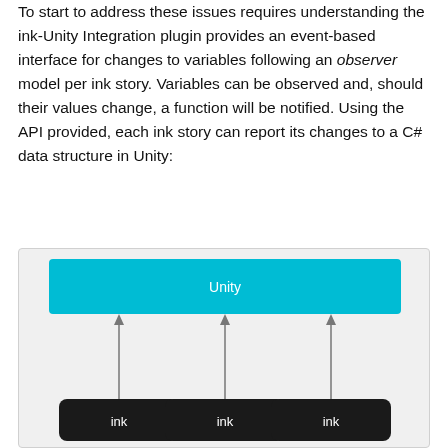To start to address these issues requires understanding the ink-Unity Integration plugin provides an event-based interface for changes to variables following an observer model per ink story. Variables can be observed and, should their values change, a function will be notified. Using the API provided, each ink story can report its changes to a C# data structure in Unity:
[Figure (schematic): Architecture diagram showing a teal 'Unity' box at the top, with three arrows pointing upward from three dark rounded 'ink' boxes at the bottom into the Unity box.]